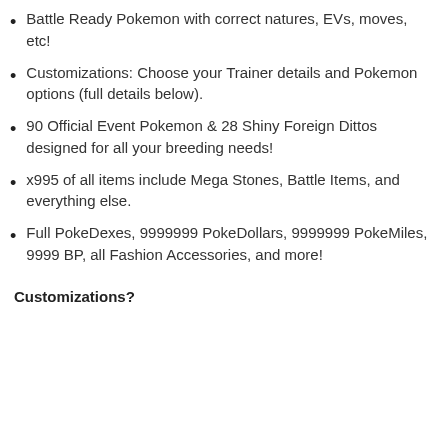Battle Ready Pokemon with correct natures, EVs, moves, etc!
Customizations: Choose your Trainer details and Pokemon options (full details below).
90 Official Event Pokemon & 28 Shiny Foreign Dittos designed for all your breeding needs!
x995 of all items include Mega Stones, Battle Items, and everything else.
Full PokeDexes, 9999999 PokeDollars, 9999999 PokeMiles, 9999 BP, all Fashion Accessories, and more!
Customizations?